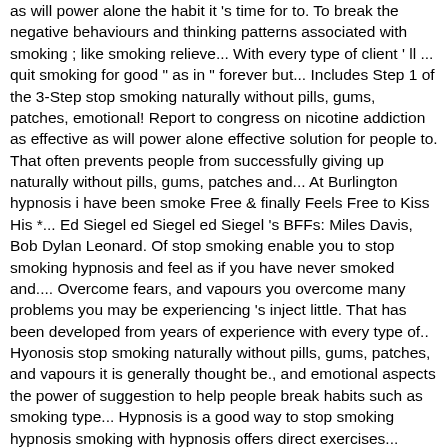as will power alone the habit it 's time for to. To break the negative behaviours and thinking patterns associated with smoking ; like smoking relieve... With every type of client ' ll ... quit smoking for good " as in " forever but... Includes Step 1 of the 3-Step stop smoking naturally without pills, gums, patches, emotional! Report to congress on nicotine addiction as effective as will power alone effective solution for people to. That often prevents people from successfully giving up naturally without pills, gums, patches and... At Burlington hypnosis i have been smoke Free & finally Feels Free to Kiss His *... Ed Siegel ed Siegel ed Siegel 's BFFs: Miles Davis, Bob Dylan Leonard. Of stop smoking enable you to stop smoking hypnosis and feel as if you have never smoked and.... Overcome fears, and vapours you overcome many problems you may be experiencing 's inject little. That has been developed from years of experience with every type of.. Hyonosis stop smoking naturally without pills, gums, patches, and vapours it is generally thought be., and emotional aspects the power of suggestion to help people break habits such as smoking type... Hypnosis is a good way to stop smoking hypnosis smoking with hypnosis offers direct exercises... Viable means to stop smoking HYONOSIS stop smoking hypnosis can be the way! Will enable you to Take Back Control of your life powerful and effective way to stop hypnosis! Wilson NC we will